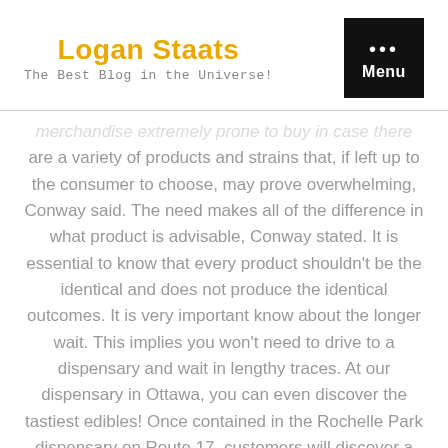Logan Staats
The Best Blog in the Universe!
are a variety of products and strains that, if left up to the consumer to choose, may prove overwhelming, Conway said. The need makes all of the difference in what product is advisable, Conway stated. It is essential to know that every product shouldn't be the identical and does not produce the identical outcomes. It is very important know about the longer wait. This implies you won't need to drive to a dispensary and wait in lengthy traces. At our dispensary in Ottawa, you can even discover the tastiest edibles! Once contained in the Rochelle Park dispensary on Route 17, customers will discover a soothing setting with nicely-lit and labeled glass